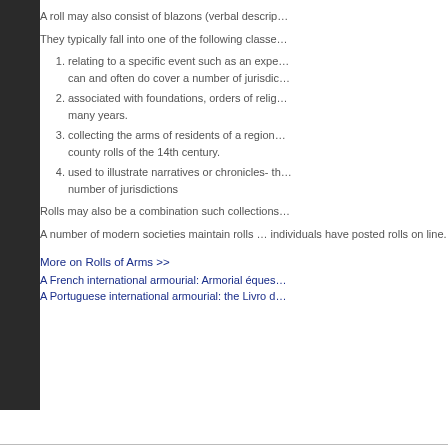A roll may also consist of blazons (verbal descrip…
They typically fall into one of the following classe…
1. relating to a specific event such as an expe… can and often do cover a number of jurisdic…
2. associated with foundations, orders of relig… many years.
3. collecting the arms of residents of a region… county rolls of the 14th century.
4. used to illustrate narratives or chronicles- t… number of jurisdictions
Rolls may also be a combination such collections…
A number of modern societies maintain rolls … individuals have posted rolls on line.
More on Rolls of Arms >>
A French international armourial: Armorial éques…
A Portuguese international armourial: the Livro d…